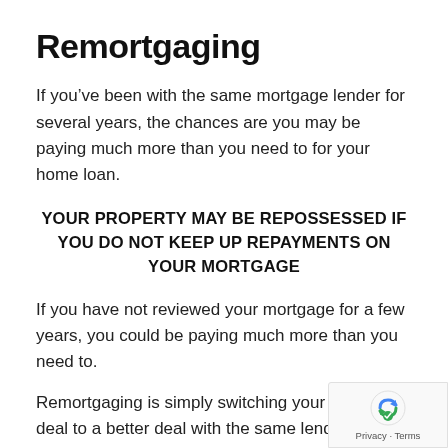Remortgaging
If you’ve been with the same mortgage lender for several years, the chances are you may be paying much more than you need to for your home loan.
YOUR PROPERTY MAY BE REPOSSESSED IF YOU DO NOT KEEP UP REPAYMENTS ON YOUR MORTGAGE
If you have not reviewed your mortgage for a few years, you could be paying much more than you need to.
Remortgaging is simply switching your mortgage deal to a better deal with the same lender or